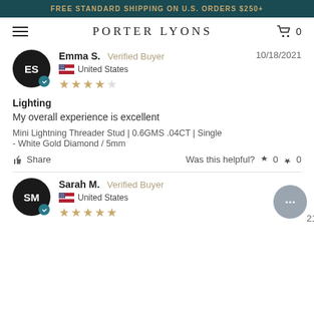FREE STANDARD SHIPPING ON U.S. ORDERS $250+
PORTER LYONS
Emma S.  Verified Buyer  10/18/2021
United States
★★★★★
Lighting
My overall experience is excellent
Mini Lightning Threader Stud | 0.6GMS .04CT | Single - White Gold Diamond / 5mm
Share  Was this helpful?  👍 0  👎 0
Sarah M.  Verified Buyer
United States
★★★★★